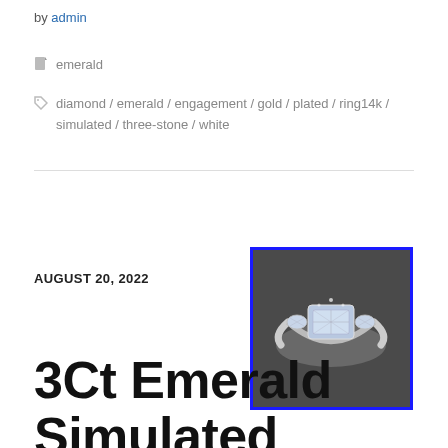by admin
emerald
diamond / emerald / engagement / gold / plated / ring14k / simulated / three-stone / white
AUGUST 20, 2022
[Figure (photo): A diamond/emerald three-stone engagement ring on a dark background, shown in a blue-bordered thumbnail image.]
3Ct Emerald Simulated